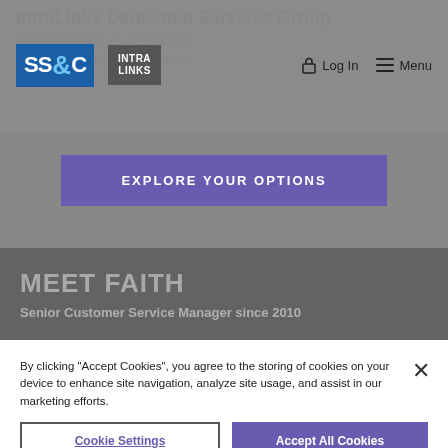[Figure (screenshot): SS&C IntraLinks logo and navigation bar with Log In and Menu options]
IntraLinks Dedicated Services Group
personal touch, as well as our marketplace, in 140 languages.
EXPLORE YOUR OPTIONS
MEET FAITH
Senior Customer Service Manager since 2010
By clicking "Accept Cookies", you agree to the storing of cookies on your device to enhance site navigation, analyze site usage, and assist in our marketing efforts.
Cookie Settings
Accept All Cookies